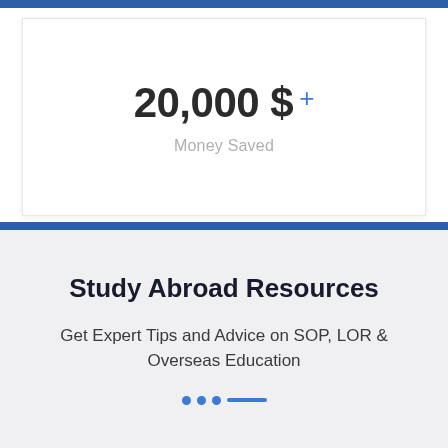[Figure (infographic): White card with '20,000 $+' in large dark text and 'Money Saved' subtitle in grey below, on white background with blue top bar]
Study Abroad Resources
Get Expert Tips and Advice on SOP, LOR & Overseas Education